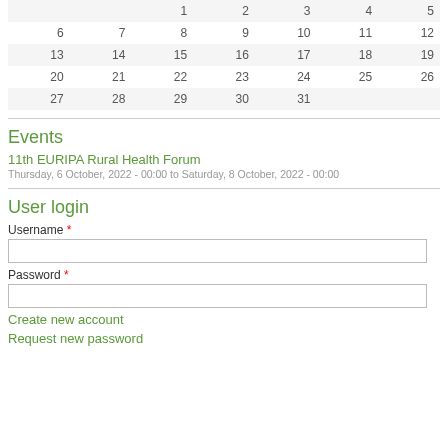|  |  | 1 | 2 | 3 | 4 | 5 |
| 6 | 7 | 8 | 9 | 10 | 11 | 12 |
| 13 | 14 | 15 | 16 | 17 | 18 | 19 |
| 20 | 21 | 22 | 23 | 24 | 25 | 26 |
| 27 | 28 | 29 | 30 | 31 |  |  |
Events
11th EURIPA Rural Health Forum
Thursday, 6 October, 2022 - 00:00 to Saturday, 8 October, 2022 - 00:00
User login
Username *
Password *
Create new account
Request new password